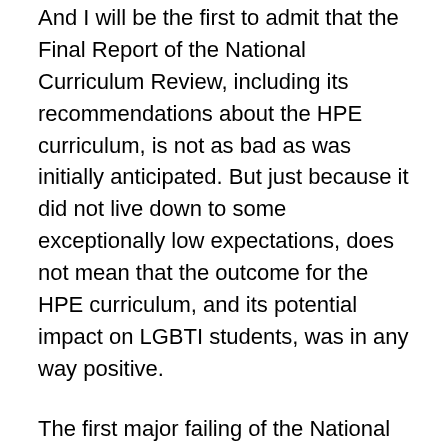And I will be the first to admit that the Final Report of the National Curriculum Review, including its recommendations about the HPE curriculum, is not as bad as was initially anticipated. But just because it did not live down to some exceptionally low expectations, does not mean that the outcome for the HPE curriculum, and its potential impact on LGBTI students, was in any way positive.
The first major failing of the National Curriculum Review's approach is that it appears to concede, without mustering much opposition, that, far from being a national minimum standard, the HPE curriculum is essentially optional.
For example, it notes that “one jurisdiction said it would refuse to implement the content in sexual orientation” (which appears to be Western Australia), while “a few schools are implacably opposed to the inclusion of such